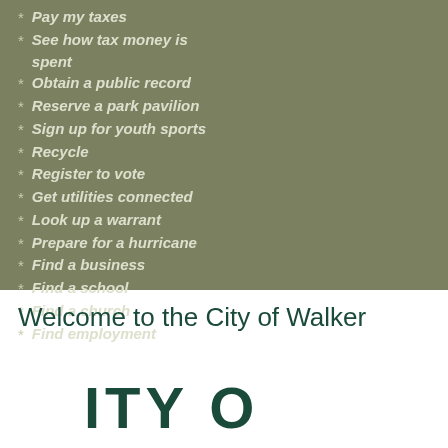Pay my taxes
See how tax money is spent
Obtain a public record
Reserve a park pavilion
Sign up for youth sports
Recycle
Register to vote
Get utilities connected
Look up a warrant
Prepare for a hurricane
Find a business
Find a school
Find a church
Find employment
Welcome to the City of Walker
[Figure (logo): Partial city of Walker logo showing stylized text]